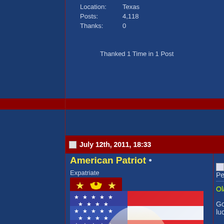Location: Texas
Posts: 4,118
Thanks: 0
Thanked 1 Time in 1 Post
July 12th, 2011, 18:33
American Patriot •
Expatriate
[Figure (illustration): Bald eagle with wings spread against American flag with stars and stripes background, mountains below]
Re: Anomalies.Net 404?
Peterle,
Olav@Anomalies.net
Good luck.